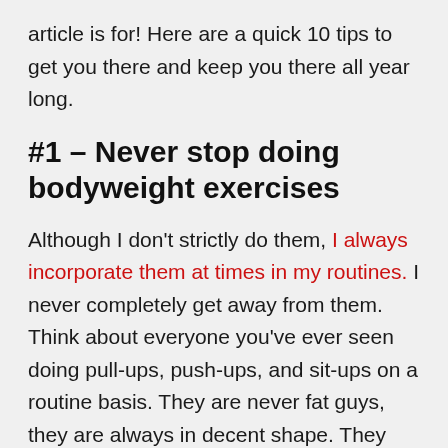article is for! Here are a quick 10 tips to get you there and keep you there all year long.
#1 – Never stop doing bodyweight exercises
Although I don't strictly do them, I always incorporate them at times in my routines. I never completely get away from them. Think about everyone you've ever seen doing pull-ups, push-ups, and sit-ups on a routine basis. They are never fat guys, they are always in decent shape. They may not be huge but they are usually very proportional and have some degree of strength and stamina. I bought this book a